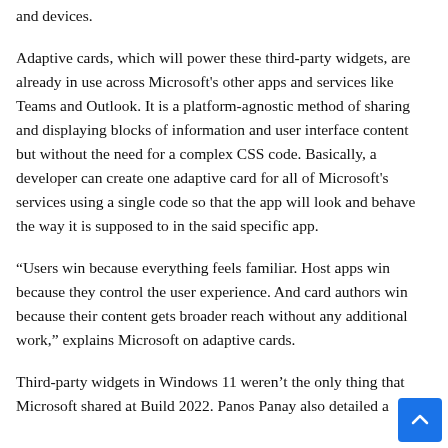and devices.
Adaptive cards, which will power these third-party widgets, are already in use across Microsoft's other apps and services like Teams and Outlook. It is a platform-agnostic method of sharing and displaying blocks of information and user interface content but without the need for a complex CSS code. Basically, a developer can create one adaptive card for all of Microsoft's services using a single code so that the app will look and behave the way it is supposed to in the said specific app.
“Users win because everything feels familiar. Host apps win because they control the user experience. And card authors win because their content gets broader reach without any additional work,” explains Microsoft on adaptive cards.
Third-party widgets in Windows 11 weren’t the only thing that Microsoft shared at Build 2022. Panos Panay also detailed a